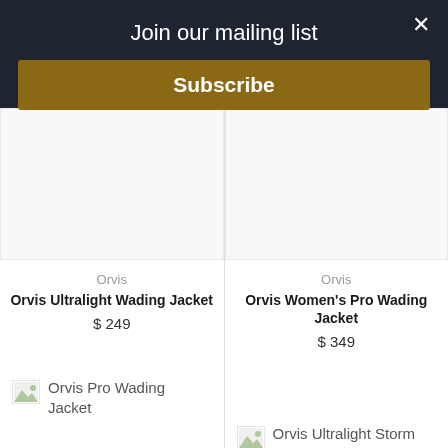Join our mailing list
Subscribe
[Figure (other): Empty product image placeholder for Orvis Ultralight Wading Jacket]
Orvis
Orvis Ultralight Wading Jacket
$ 249
[Figure (other): Empty product image placeholder for Orvis Women's Pro Wading Jacket]
Orvis
Orvis Women's Pro Wading Jacket
$ 349
[Figure (photo): Broken image icon for Orvis Pro Wading Jacket]
Orvis Pro Wading Jacket
[Figure (photo): Broken image icon for Orvis Ultralight Storm Jacket]
Orvis Ultralight Storm Jacket